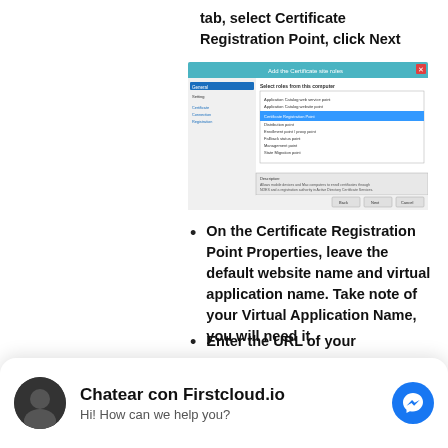tab, select Certificate Registration Point, click Next
[Figure (screenshot): Windows dialog box for adding site system roles, with Certificate Registration Point highlighted in blue in the list of available roles. Navigation buttons (Back, Next, Cancel) visible at bottom.]
On the Certificate Registration Point Properties, leave the default website name and virtual application name. Take note of your Virtual Application Name, you will need it
Enter the URL of your